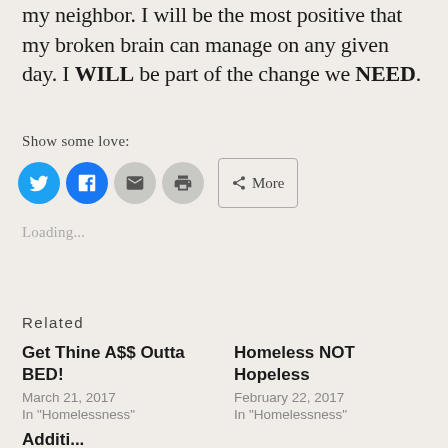my neighbor. I will be the most positive that my broken brain can manage on any given day. I WILL be part of the change we NEED.
Show some love:
[Figure (infographic): Social share buttons: Twitter (blue circle), Facebook (blue circle), Email (grey circle), Print (grey circle), and a More button with share icon]
Loading...
Related
Get Thine A$$ Outta BED!
March 21, 2017
In "Homelessness"
Homeless NOT Hopeless
February 22, 2017
In "Homelessness"
Additi...